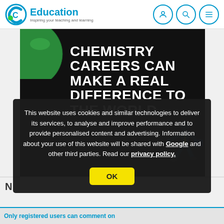C Education — Inspiring your teaching and learning
[Figure (illustration): Banner image with dark background showing text 'CHEMISTRY CAREERS CAN MAKE A REAL DIFFERENCE TO THE WORLD.' in bold white uppercase letters, with a running figure illustration on the right side and a partial globe/earth image on the left]
This website uses cookies and similar technologies to deliver its services, to analyse and improve performance and to provide personalised content and advertising. Information about your use of this website will be shared with Google and other third parties. Read our privacy policy.
OK
Only registered users can comment on